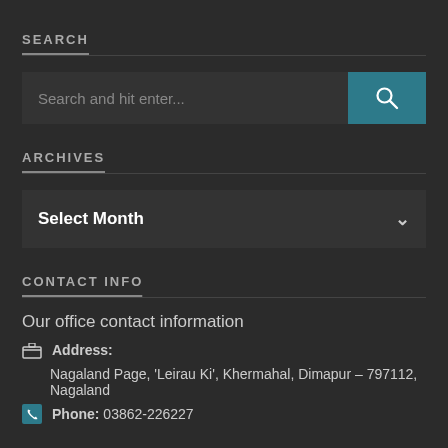SEARCH
Search and hit enter...
ARCHIVES
Select Month
CONTACT INFO
Our office contact information
Address: Nagaland Page, 'Leirau Ki', Khermahal, Dimapur – 797112, Nagaland
Phone: 03862-226227